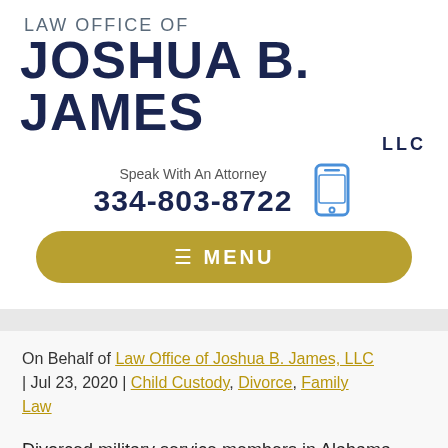LAW OFFICE OF JOSHUA B. JAMES LLC
Speak With An Attorney
334-803-8722
[Figure (screenshot): Mobile phone icon in blue outline style]
≡ MENU
On Behalf of Law Office of Joshua B. James, LLC | Jul 23, 2020 | Child Custody, Divorce, Family Law
Divorced military service members in Alabama and other U.S. states are required by the federal